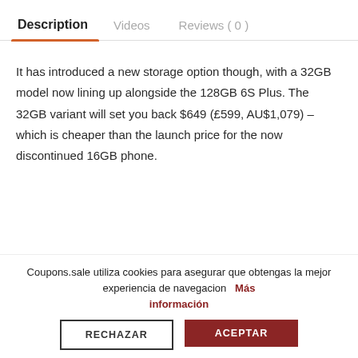Description | Videos | Reviews ( 0 )
It has introduced a new storage option though, with a 32GB model now lining up alongside the 128GB 6S Plus. The 32GB variant will set you back $649 (£599, AU$1,079) – which is cheaper than the launch price for the now discontinued 16GB phone.
Coupons.sale utiliza cookies para asegurar que obtengas la mejor experiencia de navegacion  Más información
RECHAZAR
ACEPTAR